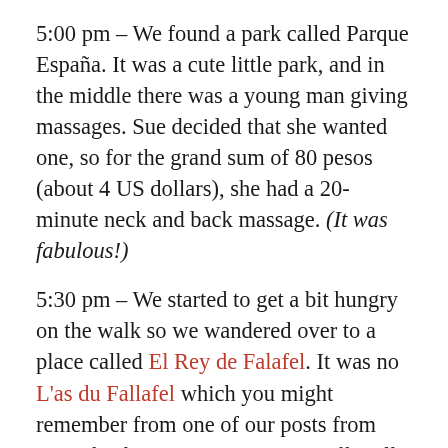5:00 pm – We found a park called Parque España. It was a cute little park, and in the middle there was a young man giving massages. Sue decided that she wanted one, so for the grand sum of 80 pesos (about 4 US dollars), she had a 20-minute neck and back massage. (It was fabulous!)
5:30 pm – We started to get a bit hungry on the walk so we wandered over to a place called El Rey de Falafel. It was no L'as du Fallafel which you might remember from one of our posts from Paris, back in August. But was still really nice and filled the hole.